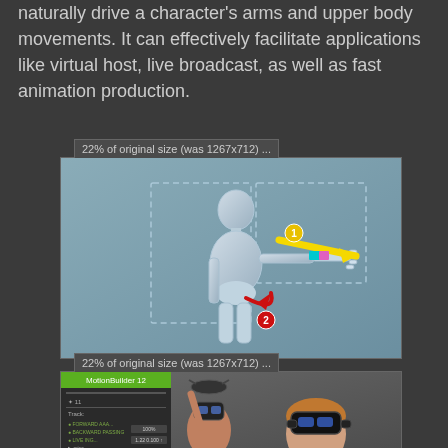naturally drive a character's arms and upper body movements. It can effectively facilitate applications like virtual host, live broadcast, as well as fast animation production.
[Figure (illustration): A 3D robot/mannequin character with arm extended, showing motion arrows: a yellow arrow labeled 1 pointing right and a red curved arrow labeled 2 indicating rotation. The scene has a gray background with dashed rectangle outlines.]
[Figure (screenshot): A VR motion capture scene showing two people wearing VR headsets and holding controllers, with a software UI panel visible on the left side showing MotionBuilder or similar 3D animation software.]